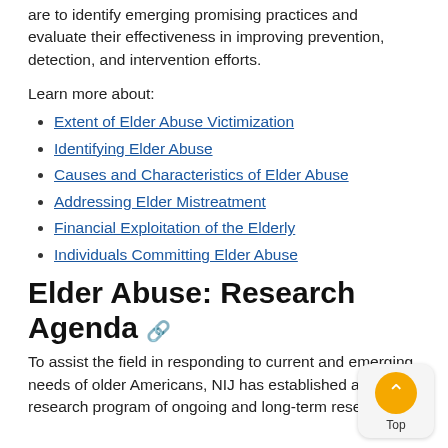are to identify emerging promising practices and evaluate their effectiveness in improving prevention, detection, and intervention efforts.
Learn more about:
Extent of Elder Abuse Victimization
Identifying Elder Abuse
Causes and Characteristics of Elder Abuse
Addressing Elder Mistreatment
Financial Exploitation of the Elderly
Individuals Committing Elder Abuse
Elder Abuse: Research Agenda
To assist the field in responding to current and emerging needs of older Americans, NIJ has established a research program of ongoing and long-term research.